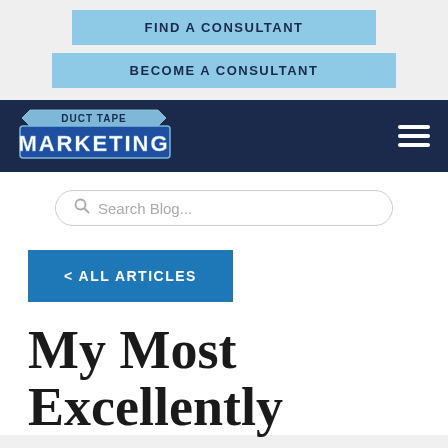FIND A CONSULTANT
BECOME A CONSULTANT
[Figure (logo): Duct Tape Marketing logo on dark navy navigation bar with hamburger menu icon]
Search Blog...
< ALL ARTICLES
My Most Excellently